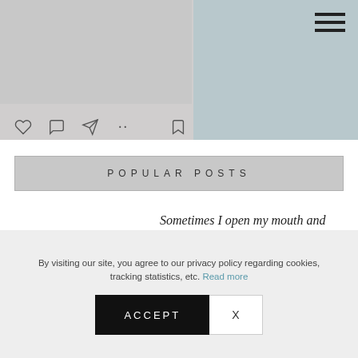[Figure (screenshot): Partial view of Instagram-style social media interface with two photos and action icons (heart, comment, share, bookmark), and a hamburger menu icon in top right]
POPULAR POSTS
Sometimes I open my mouth and my Mother comes out!
Gallstones Diet Plan
By visiting our site, you agree to our privacy policy regarding cookies, tracking statistics, etc. Read more